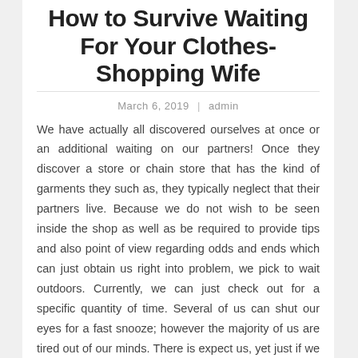How to Survive Waiting For Your Clothes-Shopping Wife
March 6, 2019  |  admin
We have actually all discovered ourselves at once or an additional waiting on our partners! Once they discover a store or chain store that has the kind of garments they such as, they typically neglect that their partners live. Because we do not wish to be seen inside the shop as well as be required to provide tips and also point of view regarding odds and ends which can just obtain us right into problem, we pick to wait outdoors. Currently, we can just check out for a specific quantity of time. Several of us can shut our eyes for a fast snooze; however the majority of us are tired out of our minds. There is expect us, yet just if we come ready. Below are a couple of concepts to assist the hubbies